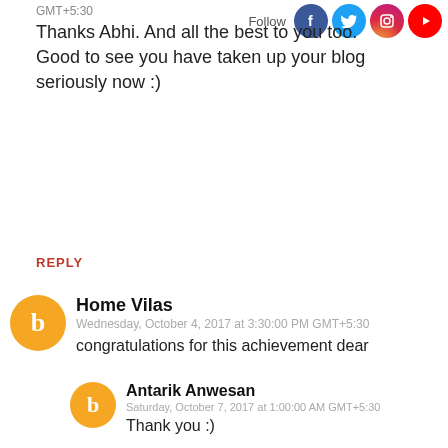GMT+5:30
Thanks Abhi. And all the best to you too. Good to see you have taken up your blog seriously now :)
REPLY
Home Vilas
Wednesday, October 4, 2017 at 3:30:00 PM GMT+5:30
congratulations for this achievement dear
Antarik Anwesan
Saturday, October 7, 2017 at 1:00:00 AM GMT+5:30
Thank you :)